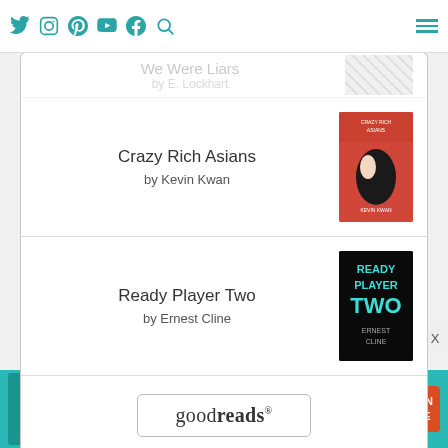Social media icons: Twitter, Instagram, Pinterest, YouTube, Facebook, Search, Hamburger menu
We Were Liars
Crazy Rich Asians
by Kevin Kwan
Ready Player Two
by Ernest Cline
[Figure (logo): Goodreads logo button with border]
AFFLIATED
[Figure (logo): BibRave circular orange logo, partially visible]
[Figure (infographic): Ad banner: SHE Media partner network. Text: WE HELP CONTENT CREATORS GROW BUSINESSES THROUGH... with woman photo, SHE logo circle, and LEARN MORE button]